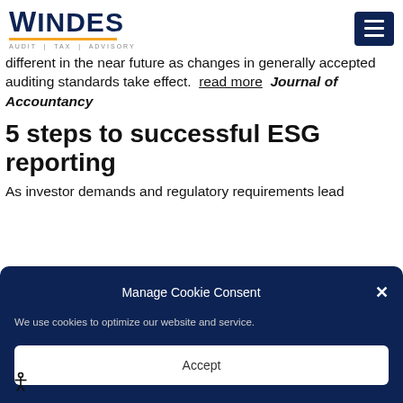[Figure (logo): Windes logo with text 'AUDIT | TAX | ADVISORY' and orange underline, plus dark navy hamburger menu button]
different in the near future as changes in generally accepted auditing standards take effect. read more Journal of Accountancy
5 steps to successful ESG reporting
As investor demands and regulatory requirements lead
[Figure (screenshot): Cookie consent modal overlay with dark navy background. Title: 'Manage Cookie Consent'. Body: 'We use cookies to optimize our website and service.' Accept button at bottom.]